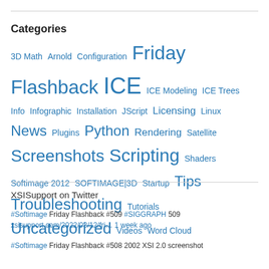Categories
3D Math  Arnold  Configuration  Friday Flashback  ICE  ICE Modeling  ICE Trees  Info  Infographic  Installation  JScript  Licensing  Linux  News  Plugins  Python  Rendering  Satellite  Screenshots  Scripting  Shaders  Softimage 2012  SOFTIMAGE|3D  Startup  Tips  Troubleshooting  Tutorials  Uncategorized  Videos  Word Cloud
XSISupport on Twitter
#Softimage Friday Flashback #509 #SIGGRAPH 509 xsisupport.com/2022/08/12/fri… 1 week ago
#Softimage Friday Flashback #508 2002 XSI 2.0 screenshot